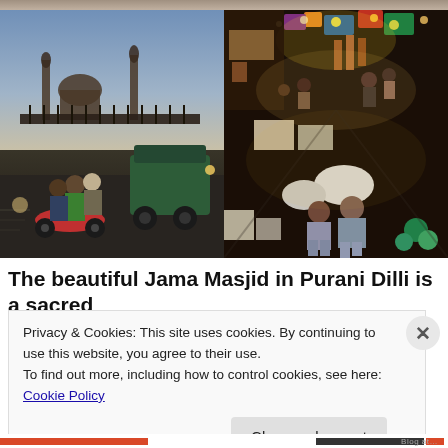[Figure (photo): Two side-by-side photos. Left: Street scene in Purani Dilli at dusk with autorickshaw, scooter, and people in foreground; Jama Masjid mosque silhouette in background. Right: Aerial/elevated view of a busy night market/bazaar with colorful stalls, goods, and people milling about.]
The beautiful Jama Masjid in Purani Dilli is a sacred
Privacy & Cookies: This site uses cookies. By continuing to use this website, you agree to their use.
To find out more, including how to control cookies, see here: Cookie Policy
Close and accept